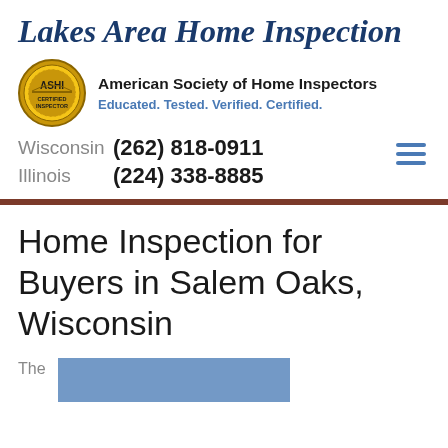Lakes Area Home Inspection
[Figure (logo): ASHI Certified Inspector gold seal badge with ASHI text in center]
American Society of Home Inspectors
Educated. Tested. Verified. Certified.
Wisconsin  (262) 818-0911
Illinois     (224) 338-8885
Home Inspection for Buyers in Salem Oaks, Wisconsin
The